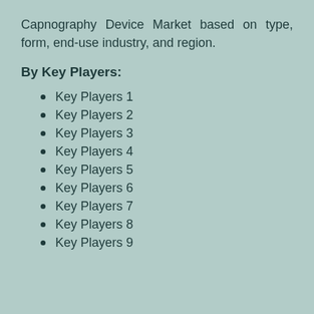Capnography Device Market based on type, form, end-use industry, and region.
By Key Players:
Key Players 1
Key Players 2
Key Players 3
Key Players 4
Key Players 5
Key Players 6
Key Players 7
Key Players 8
Key Players 9